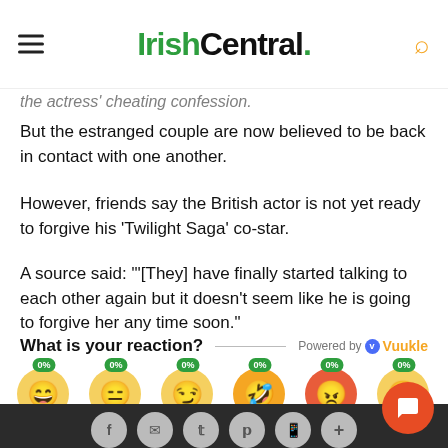IrishCentral.
the actress' cheating confession.
But the estranged couple are now believed to be back in contact with one another.
However, friends say the British actor is not yet ready to forgive his 'Twilight Saga' co-star.
A source said: "'[They] have finally started talking to each other again but it doesn't seem like he is going to forgive her any time soon."
What is your reaction? Powered by Vuukle
[Figure (infographic): Six emoji reaction buttons each showing 0%: Happy, Unmoved, Amused, Excited, Angry, Sad. Below are social share buttons (Facebook, email, Twitter, Pinterest, WhatsApp, plus). An orange chat button is in the bottom right.]